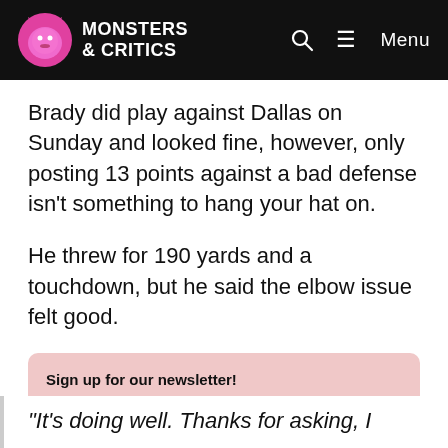MONSTERS & CRITICS
Brady did play against Dallas on Sunday and looked fine, however, only posting 13 points against a bad defense isn't something to hang your hat on.
He threw for 190 yards and a touchdown, but he said the elbow issue felt good.
Sign up for our newsletter! Enter Your Email Go!
“It’s doing well. Thanks for asking, I